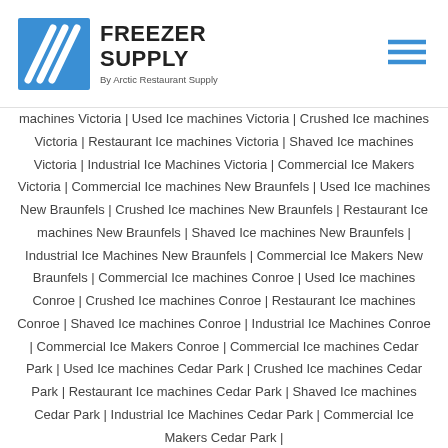Freezer Supply — By Arctic Restaurant Supply
machines Victoria | Used Ice machines Victoria | Crushed Ice machines Victoria | Restaurant Ice machines Victoria | Shaved Ice machines Victoria | Industrial Ice Machines Victoria | Commercial Ice Makers Victoria | Commercial Ice machines New Braunfels | Used Ice machines New Braunfels | Crushed Ice machines New Braunfels | Restaurant Ice machines New Braunfels | Shaved Ice machines New Braunfels | Industrial Ice Machines New Braunfels | Commercial Ice Makers New Braunfels | Commercial Ice machines Conroe | Used Ice machines Conroe | Crushed Ice machines Conroe | Restaurant Ice machines Conroe | Shaved Ice machines Conroe | Industrial Ice Machines Conroe | Commercial Ice Makers Conroe | Commercial Ice machines Cedar Park | Used Ice machines Cedar Park | Crushed Ice machines Cedar Park | Restaurant Ice machines Cedar Park | Shaved Ice machines Cedar Park | Industrial Ice Machines Cedar Park | Commercial Ice Makers Cedar Park |